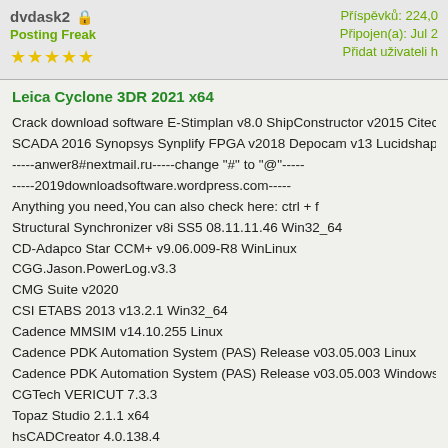dvdask2  Příspěvků: 224,0  Připojen(a): Jul 2  Přidat uživateli h  Posting Freak
Leica Cyclone 3DR 2021 x64
Crack download software E-Stimplan v8.0 ShipConstructor v2015 Citect SCADA 2016 Synopsys Synplify FPGA v2018 Depocam v13 Lucidshape -----anwer8#nextmail.ru-----change "#" to "@"----- -----2019downloadsoftware.wordpress.com----- Anything you need,You can also check here: ctrl + f Structural Synchronizer v8i SS5 08.11.11.46 Win32_64 CD-Adapco Star CCM+ v9.06.009-R8 WinLinux CGG.Jason.PowerLog.v3.3 CMG Suite v2020 CSI ETABS 2013 v13.2.1 Win32_64 Cadence MMSIM v14.10.255 Linux Cadence PDK Automation System (PAS) Release v03.05.003 Linux Cadence PDK Automation System (PAS) Release v03.05.003 Windows CGTech VERICUT 7.3.3 Topaz Studio 2.1.1 x64 hsCADCreator 4.0.138.4 ROBOGUIDEV9.1 PROCAM v2009 x32x64 Rhinoceros_7.0.19009.12085 Chaos systems TopoCAD 12.0.0.427